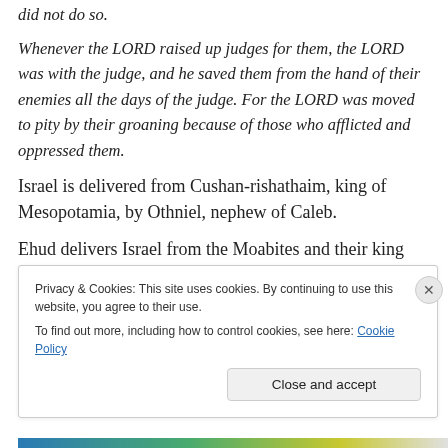did not do so.
Whenever the LORD raised up judges for them, the LORD was with the judge, and he saved them from the hand of their enemies all the days of the judge. For the LORD was moved to pity by their groaning because of those who afflicted and oppressed them.
Israel is delivered from Cushan-rishathaim, king of Mesopotamia, by Othniel, nephew of Caleb.
Ehud delivers Israel from the Moabites and their king Eglon.
Privacy & Cookies: This site uses cookies. By continuing to use this website, you agree to their use.
To find out more, including how to control cookies, see here: Cookie Policy
Close and accept